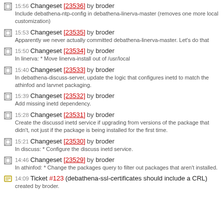15:56 Changeset [23536] by broder
Include debathena-ntp-config in debathena-linerva-master (removes one more local customization)
15:53 Changeset [23535] by broder
Apparently we never actually committed debathena-linerva-master. Let's do that
15:50 Changeset [23534] by broder
In linerva: * Move linerva-install out of /usr/local
15:40 Changeset [23533] by broder
In debathena-discuss-server, update the logic that configures inetd to match the athinfod and larvnet packaging.
15:39 Changeset [23532] by broder
Add missing inetd dependency.
15:28 Changeset [23531] by broder
Create the discussd inetd service if upgrading from versions of the package that didn't, not just if the package is being installed for the first time.
15:21 Changeset [23530] by broder
In discuss: * Configure the discuss inetd service.
14:46 Changeset [23529] by broder
In athinfod: * Change the packages query to filter out packages that aren't installed.
14:09 Ticket #123 (debathena-ssl-certificates should include a CRL) created by broder.